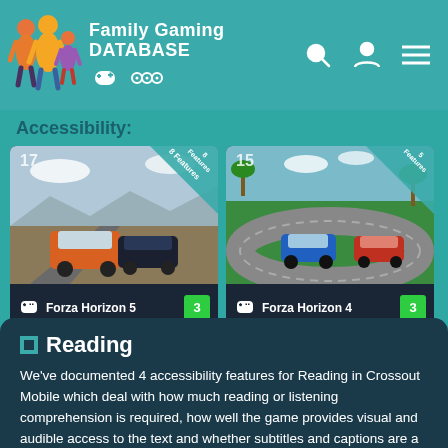Family Gaming Database
Accessibility:
[Figure (screenshot): Game card for Forza Horizon 5 with rating 3, 8 Features badge, number 17]
[Figure (screenshot): Game card for Forza Horizon 4 with rating 3, 5 Features badge, number 15]
Reading
We've documented 4 accessibility features for Reading in Crossout Mobile which deal with how much reading or listening comprehension is required, how well the game provides visual and audible access to the text and whether subtitles and captions are a good fit for purpose.